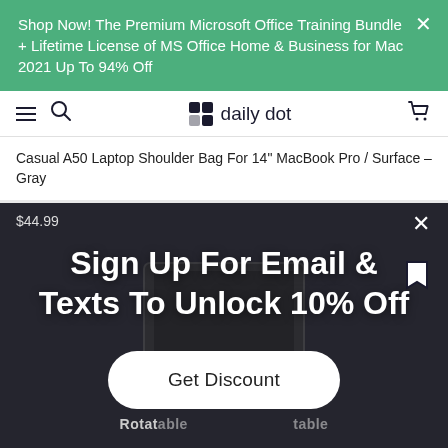Shop Now! The Premium Microsoft Office Training Bundle + Lifetime License of MS Office Home & Business for Mac 2021 Up To 94% Off
daily dot — navigation bar with hamburger menu, search icon, logo, and cart icon
Casual A50 Laptop Shoulder Bag For 14" MacBook Pro / Surface – Gray
$44.99
Sign Up For Email & Texts To Unlock 10% Off
Get Discount
Rotatable